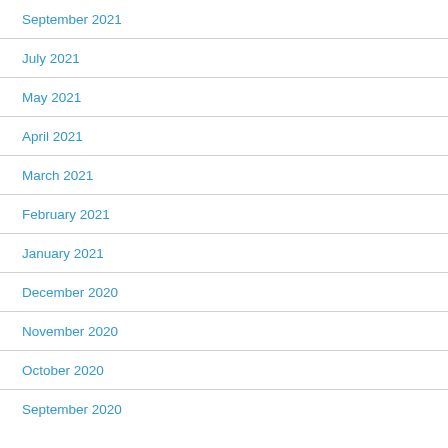September 2021
July 2021
May 2021
April 2021
March 2021
February 2021
January 2021
December 2020
November 2020
October 2020
September 2020